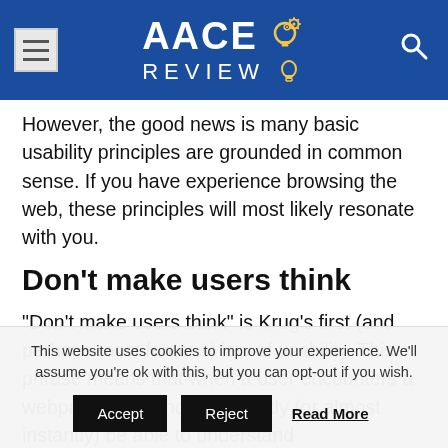AACE REVIEW
However, the good news is many basic usability principles are grounded in common sense. If you have experience browsing the web, these principles will most likely resonate with you.
Don’t make users think
“Don’t make users think” is Krug’s first (and perhaps most famous) law of usability. This phrase means that when a user encounters a webpage, they should instantly (or almost instantly) be able to understand
This website uses cookies to improve your experience. We’ll assume you’re ok with this, but you can opt-out if you wish. Accept Reject Read More